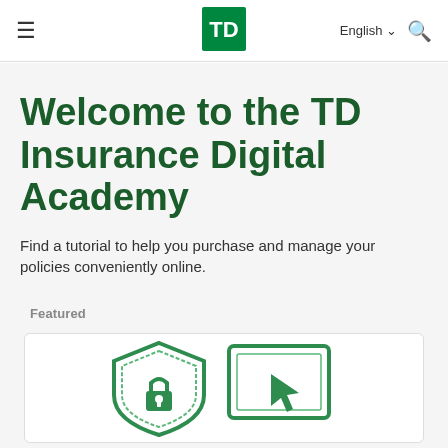TD Insurance — Navigation header with hamburger menu, TD logo, English language selector, and search icon
Welcome to the TD Insurance Digital Academy
Find a tutorial to help you purchase and manage your policies conveniently online.
Featured
[Figure (illustration): Featured card showing a shield with lock icon and a screen with cursor icon in green outline style]